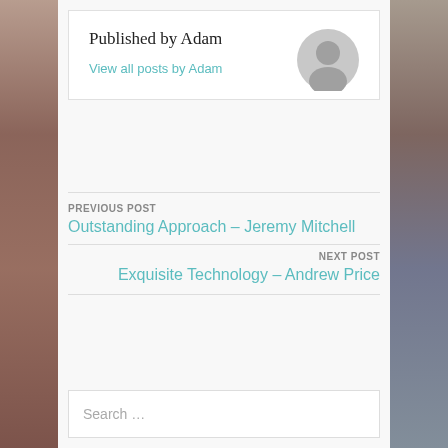Published by Adam
View all posts by Adam
PREVIOUS POST
Outstanding Approach – Jeremy Mitchell
NEXT POST
Exquisite Technology – Andrew Price
Search …